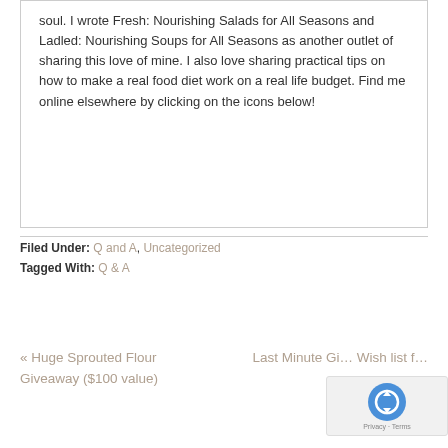soul. I wrote Fresh: Nourishing Salads for All Seasons and Ladled: Nourishing Soups for All Seasons as another outlet of sharing this love of mine. I also love sharing practical tips on how to make a real food diet work on a real life budget. Find me online elsewhere by clicking on the icons below!
Filed Under: Q and A, Uncategorized
Tagged With: Q & A
« Huge Sprouted Flour Giveaway ($100 value)
Last Minute Gift Wish list f…